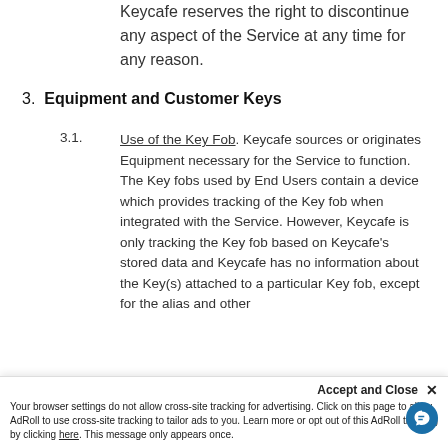Keycafe reserves the right to discontinue any aspect of the Service at any time for any reason.
3.  Equipment and Customer Keys
3.1.  Use of the Key Fob. Keycafe sources or originates Equipment necessary for the Service to function. The Key fobs used by End Users contain a device which provides tracking of the Key fob when integrated with the Service. However, Keycafe is only tracking the Key fob based on Keycafe's stored data and Keycafe has no information about the Key(s) attached to a particular Key fob, except for the alias and other... ...assumes full
Accept and Close ×
Your browser settings do not allow cross-site tracking for advertising. Click on this page to allow AdRoll to use cross-site tracking to tailor ads to you. Learn more or opt out of this AdRoll tracking by clicking here. This message only appears once.